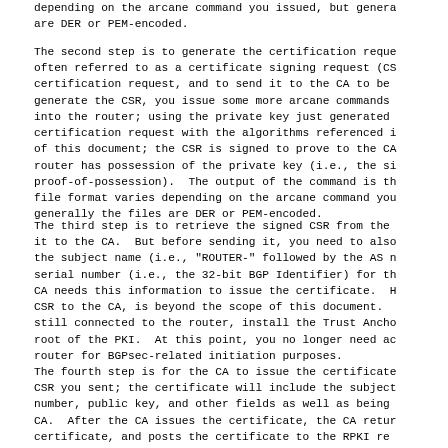depending on the arcane command you issued, but generally the files are DER or PEM-encoded.
The second step is to generate the certification request, often referred to as a certificate signing request (CSR) certification request, and to send it to the CA to be signed. To generate the CSR, you issue some more arcane commands into the router; using the private key just generated to sign the certification request with the algorithms referenced in the header of this document; the CSR is signed to prove to the CA that the router has possession of the private key (i.e., the so-called proof-of-possession). The output of the command is the CSR; the file format varies depending on the arcane command you issued, but generally the files are DER or PEM-encoded.
The third step is to retrieve the signed CSR from the router and send it to the CA. But before sending it, you need to also communicate the subject name (i.e., "ROUTER-" followed by the AS number) and serial number (i.e., the 32-bit BGP Identifier) for the certificate; the CA needs this information to issue the certificate. How to send the CSR to the CA, is beyond the scope of this document. While you are still connected to the router, install the Trust Anchor, which is the root of the PKI. At this point, you no longer need access to the router for BGPsec-related initiation purposes.
The fourth step is for the CA to issue the certificate based on the CSR you sent; the certificate will include the subject name, serial number, public key, and other fields as well as being signed by the CA. After the CA issues the certificate, the CA returns it to the certificate, and posts the certificate to the RPKI re